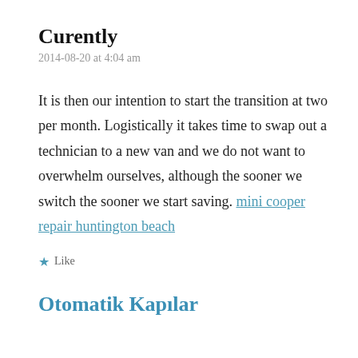Curently
2014-08-20 at 4:04 am
It is then our intention to start the transition at two per month. Logistically it takes time to swap out a technician to a new van and we do not want to overwhelm ourselves, although the sooner we switch the sooner we start saving. mini cooper repair huntington beach
★ Like
Otomatik Kapılar